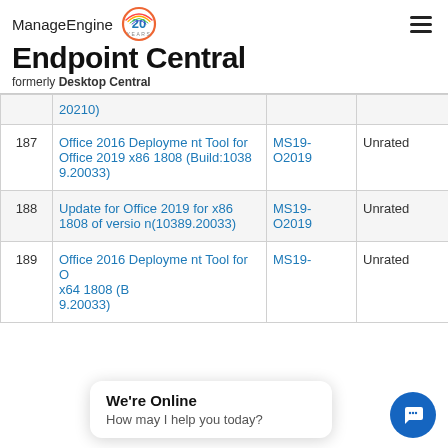ManageEngine Endpoint Central formerly Desktop Central
| # | Name | Bulletin | Rating |
| --- | --- | --- | --- |
|  | 20210) |  |  |
| 187 | Office 2016 Deployment Tool for Office 2019 x86 1808 (Build:10389.20033) | MS19-O2019 | Unrated |
| 188 | Update for Office 2019 for x86 1808 of version(10389.20033) | MS19-O2019 | Unrated |
| 189 | Office 2016 Deployment Tool for Office 2019 x64 1808 (Build:10389.20033) | MS19- | Unrated |
We're Online
How may I help you today?